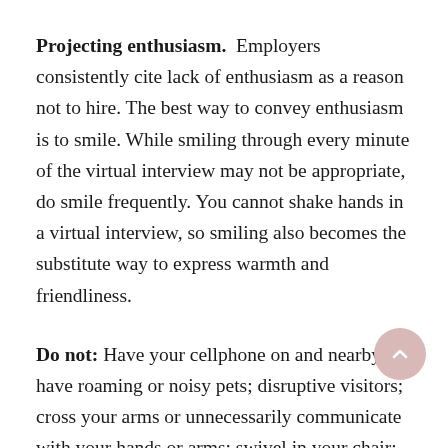Projecting enthusiasm. Employers consistently cite lack of enthusiasm as a reason not to hire. The best way to convey enthusiasm is to smile. While smiling through every minute of the virtual interview may not be appropriate, do smile frequently. You cannot shake hands in a virtual interview, so smiling also becomes the substitute way to express warmth and friendliness.
Do not: Have your cellphone on and nearby; have roaming or noisy pets; disruptive visitors; cross your arms or unnecessarily communicate with your hands or arms; swivel in your chair; and do charge your device you plan to use for the virtual interview.
More things to be aware of with the camera or from a b...